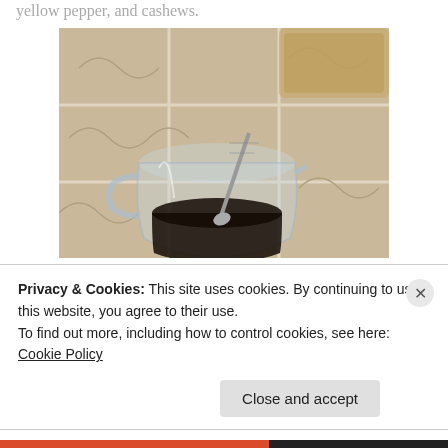yellow pepper, and cashews.
[Figure (photo): A glass measuring cup with dark liquid (likely soy sauce or balsamic vinegar) and a metal spoon inside, sitting on a tiled countertop. A wooden cutting board and other items are visible in the background.]
In a separate container, whisk together vinegar
Privacy & Cookies: This site uses cookies. By continuing to use this website, you agree to their use.
To find out more, including how to control cookies, see here: Cookie Policy
Close and accept